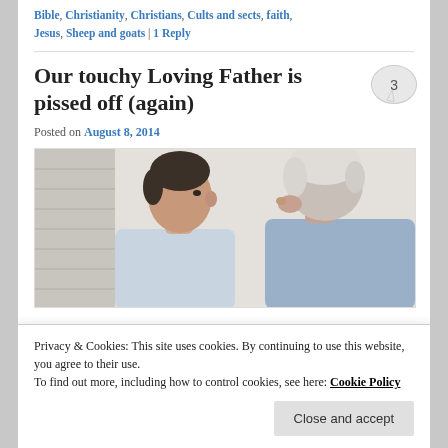Christianity's failure to deliver, Jesus disappoints | Tagged Bible, Christianity, Christians, Cults and sects, faith, Jesus, Sheep and goats | 1 Reply
Our touchy Loving Father is pissed off (again)
Posted on August 8, 2014
[Figure (photo): Two men in conversation — a younger dark-haired man facing left and an older white-haired man seen from behind, with hand near ear]
Privacy & Cookies: This site uses cookies. By continuing to use this website, you agree to their use. To find out more, including how to control cookies, see here: Cookie Policy